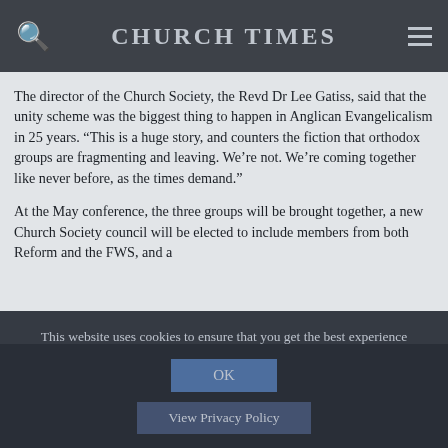CHURCH TIMES
The director of the Church Society, the Revd Dr Lee Gatiss, said that the unity scheme was the biggest thing to happen in Anglican Evangelicalism in 25 years. “This is a huge story, and counters the fiction that orthodox groups are fragmenting and leaving. We’re not. We’re coming together like never before, as the times demand.”
At the May conference, the three groups will be brought together, a new Church Society council will be elected to include members from both Reform and the FWS, and a
This website uses cookies to ensure that you get the best experience
OK
View Privacy Policy